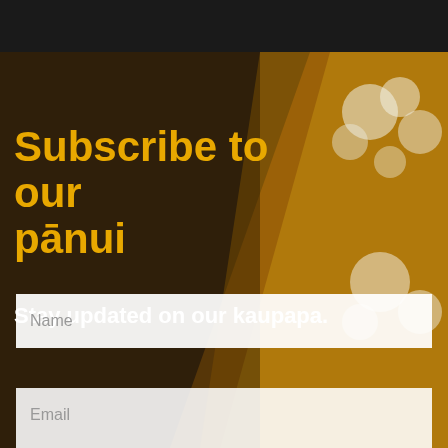[Figure (photo): Background photo of honeycomb with white manuka flowers, partially covered by a dark diagonal overlay on the left and golden/bright section on the right.]
Subscribe to our pānui
Stay updated on our kaupapa.
Name
Email